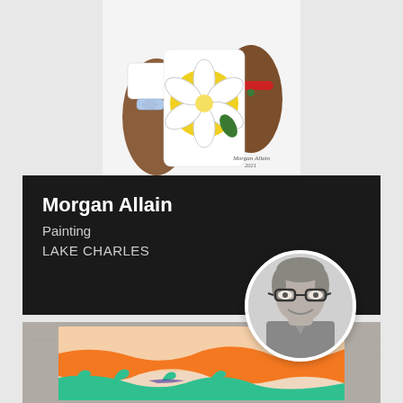[Figure (illustration): Watercolor/illustration artwork showing an arm/torso with a white shirt featuring a yellow circle with a magnolia flower, a bandage on one arm, and jewelry on the wrist. Artist signature visible at bottom right.]
Morgan Allain
Painting
LAKE CHARLES
[Figure (photo): Black and white circular portrait photo of Morgan Allain, a person wearing glasses, smiling, with short hair.]
[Figure (photo): Photo of an abstract painting leaning against a concrete wall. The painting has peach/cream background with bold orange brushstrokes in the middle and teal/green brushstrokes at the bottom, creating a landscape-like abstract composition.]